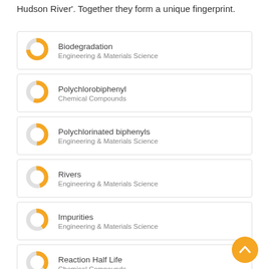Hudson River'. Together they form a unique fingerprint.
[Figure (infographic): Fingerprint keyword card: Biodegradation - Engineering & Materials Science, with orange donut chart indicator]
[Figure (infographic): Fingerprint keyword card: Polychlorobiphenyl - Chemical Compounds, with orange donut chart indicator]
[Figure (infographic): Fingerprint keyword card: Polychlorinated biphenyls - Engineering & Materials Science, with orange donut chart indicator]
[Figure (infographic): Fingerprint keyword card: Rivers - Engineering & Materials Science, with orange donut chart indicator]
[Figure (infographic): Fingerprint keyword card: Impurities - Engineering & Materials Science, with orange donut chart indicator]
[Figure (infographic): Fingerprint keyword card: Reaction Half Life - Chemical Compounds, with orange donut chart indicator]
[Figure (other): Orange circular scroll-to-top button with chevron icon]